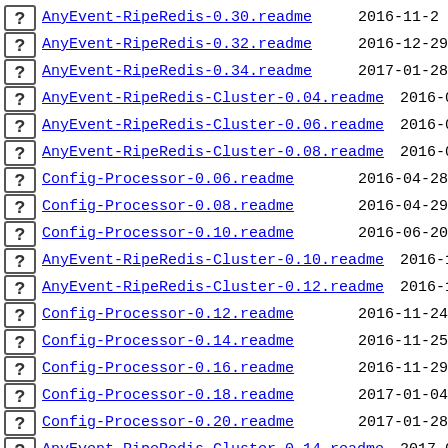AnyEvent-RipeRedis-0.30.readme  2016-11-2
AnyEvent-RipeRedis-0.32.readme  2016-12-29
AnyEvent-RipeRedis-0.34.readme  2017-01-28
AnyEvent-RipeRedis-Cluster-0.04.readme  2016-08-30
AnyEvent-RipeRedis-Cluster-0.06.readme  2016-09-02
AnyEvent-RipeRedis-Cluster-0.08.readme  2016-09-02
Config-Processor-0.06.readme  2016-04-28
Config-Processor-0.08.readme  2016-04-29
Config-Processor-0.10.readme  2016-06-20
AnyEvent-RipeRedis-Cluster-0.10.readme  2016-11-20
AnyEvent-RipeRedis-Cluster-0.12.readme  2016-12-29
Config-Processor-0.12.readme  2016-11-24
Config-Processor-0.14.readme  2016-11-25
Config-Processor-0.16.readme  2016-11-29
Config-Processor-0.18.readme  2017-01-04
Config-Processor-0.20.readme  2017-01-28
AnyEvent-RipeRedis-Cluster-0.14.readme  2017-01-28
AnyEvent-RipeRedis-Cluster-0.16.readme  2017-01-28